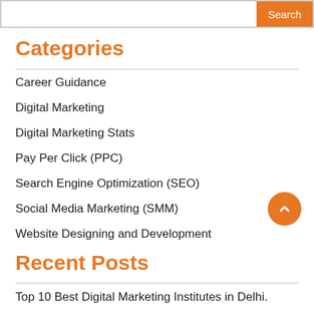Categories
Career Guidance
Digital Marketing
Digital Marketing Stats
Pay Per Click (PPC)
Search Engine Optimization (SEO)
Social Media Marketing (SMM)
Website Designing and Development
Recent Posts
Top 10 Best Digital Marketing Institutes in Delhi.